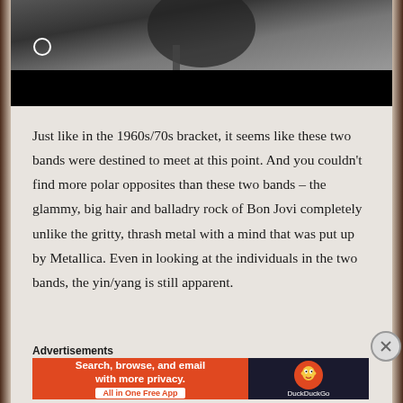[Figure (photo): Black and white photo of a performer with dark hair and microphone, partially obscured, with a black bar overlaid at bottom]
Just like in the 1960s/70s bracket, it seems like these two bands were destined to meet at this point. And you couldn't find more polar opposites than these two bands – the glammy, big hair and balladry rock of Bon Jovi completely unlike the gritty, thrash metal with a mind that was put up by Metallica. Even in looking at the individuals in the two bands, the yin/yang is still apparent.
Advertisements
[Figure (screenshot): DuckDuckGo advertisement banner: orange left section reads 'Search, browse, and email with more privacy. All in One Free App', dark right section shows DuckDuckGo duck logo and brand name]